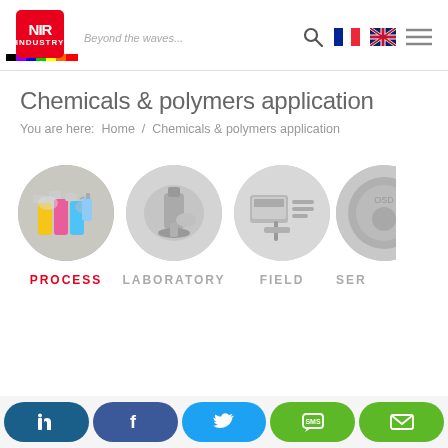[Figure (logo): NIR Industry logo with rainbow spectrum bar and tagline 'Beyond the waves...']
Chemicals & polymers application
You are here: Home / Chemicals & polymers application
[Figure (photo): Four circular category images: PROCESS (colored chemical bottles, active), LABORATORY (lab equipment, grayscale), FIELD (field instruments, grayscale), SER... (partial, grayscale)]
Social media links: LinkedIn, Facebook, Twitter, SMS, Email